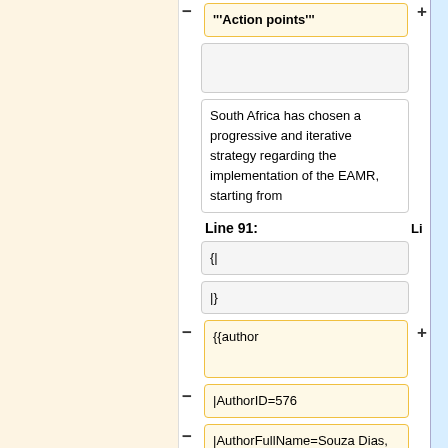'''Action points'''
(empty box)
South Africa has chosen a progressive and iterative strategy regarding the implementation of the EAMR, starting from
Line 91:
{|
|}
{{author
|AuthorID=576
|AuthorFullName=Souza Dias, Francisco
|AuthorName=Francisco}}